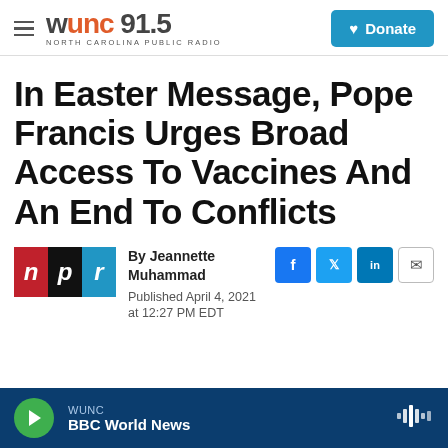WUNC 91.5 NORTH CAROLINA PUBLIC RADIO | Donate
In Easter Message, Pope Francis Urges Broad Access To Vaccines And An End To Conflicts
By Jeannette Muhammad
Published April 4, 2021 at 12:27 PM EDT
WUNC | BBC World News